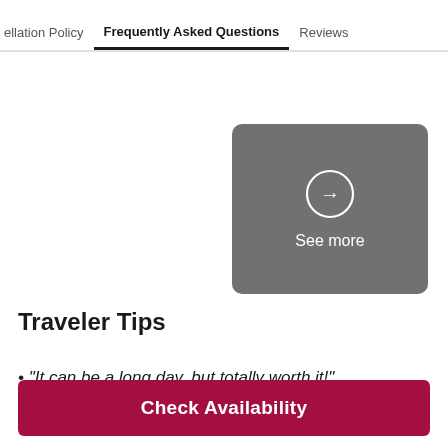ellation Policy   Frequently Asked Questions   Reviews
[Figure (illustration): Gray rounded rectangle card with a white circle containing a right-pointing arrow, and the text 'See more' below in white]
Traveler Tips
• “It can be a long day, but totally worth it!”
Check Availability